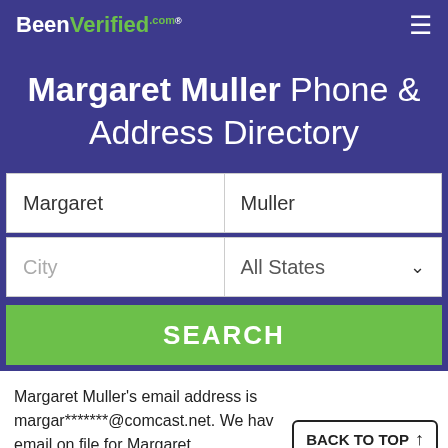BeenVerified.com
Margaret Muller Phone & Address Directory
Margaret | Muller | City | All States | SEARCH
Margaret Muller's email address is margar*******@comcast.net. We hav email on file for Margaret.
BACK TO TOP ↑